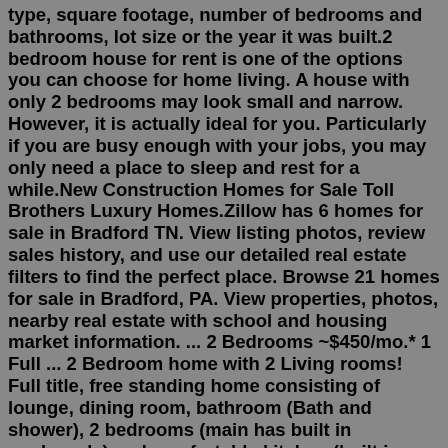type, square footage, number of bedrooms and bathrooms, lot size or the year it was built.2 bedroom house for rent is one of the options you can choose for home living. A house with only 2 bedrooms may look small and narrow. However, it is actually ideal for you. Particularly if you are busy enough with your jobs, you may only need a place to sleep and rest for a while.New Construction Homes for Sale Toll Brothers Luxury Homes.Zillow has 6 homes for sale in Bradford TN. View listing photos, review sales history, and use our detailed real estate filters to find the perfect place. Browse 21 homes for sale in Bradford, PA. View properties, photos, nearby real estate with school and housing market information. ... 2 Bedrooms ~$450/mo.* 1 Full ... 2 Bedroom home with 2 Living rooms! Full title, free standing home consisting of lounge, dining room, bathroom (Bath and shower), 2 bedrooms (main has built in cupboards) and comfortable kitchen (built in oven with Sign-up and receive Property Email Alerts of Houses for sale in Alabama. Klerksdorp Studio/bedsit